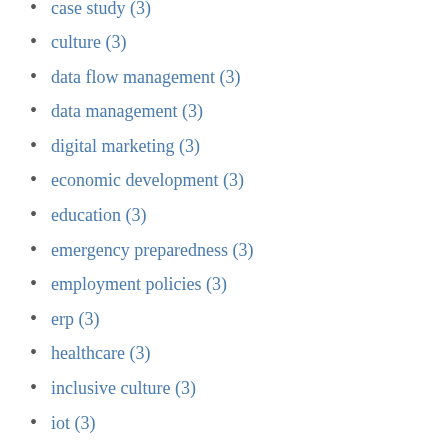case study (3)
culture (3)
data flow management (3)
data management (3)
digital marketing (3)
economic development (3)
education (3)
emergency preparedness (3)
employment policies (3)
erp (3)
healthcare (3)
inclusive culture (3)
iot (3)
maintenance (3)
manufacturing information systems (3)
manufacturing sales (3)
mfg day (3)
organizational development (3)
quality (3)
quality management (3)
quality management system (3)
results (3)